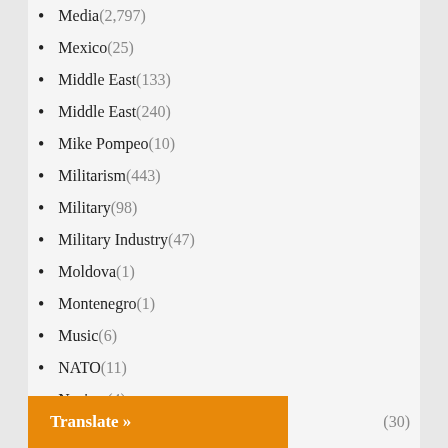Media (2,797)
Mexico (25)
Middle East (133)
Middle East (240)
Mike Pompeo (10)
Militarism (443)
Military (98)
Military Industry (47)
Moldova (1)
Montenegro (1)
Music (6)
NATO (11)
Nazism (4)
New Zealand (3)
New Zealand (3)
News Analysis (41)
Nigeria (7)
Translate »
(30)